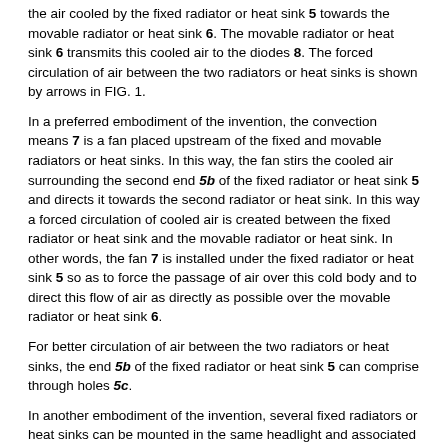the air cooled by the fixed radiator or heat sink 5 towards the movable radiator or heat sink 6. The movable radiator or heat sink 6 transmits this cooled air to the diodes 8. The forced circulation of air between the two radiators or heat sinks is shown by arrows in FIG. 1.
In a preferred embodiment of the invention, the convection means 7 is a fan placed upstream of the fixed and movable radiators or heat sinks. In this way, the fan stirs the cooled air surrounding the second end 5b of the fixed radiator or heat sink 5 and directs it towards the second radiator or heat sink. In this way a forced circulation of cooled air is created between the fixed radiator or heat sink and the movable radiator or heat sink. In other words, the fan 7 is installed under the fixed radiator or heat sink 5 so as to force the passage of air over this cold body and to direct this flow of air as directly as possible over the movable radiator or heat sink 6.
For better circulation of air between the two radiators or heat sinks, the end 5b of the fixed radiator or heat sink 5 can comprise through holes 5c.
In another embodiment of the invention, several fixed radiators or heat sinks can be mounted in the same headlight and associated with several fans. Not all the fans necessarily function at the same time, in particular if not all the diodes or diode modules are functioning at the same time.
The cooling device 11 that has just been described creates a cold spot